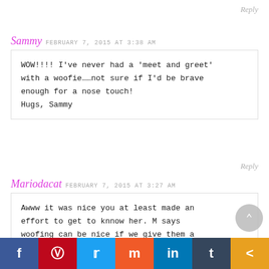Reply
Sammy FEBRUARY 7, 2015 AT 3:38 AM
WOW!!!! I've never had a 'meet and greet' with a woofie……not sure if I'd be brave enough for a nose touch! Hugs, Sammy
Reply
Mariodacat FEBRUARY 7, 2015 AT 3:27 AM
Awww it was nice you at least made an effort to get to knnow her. M says woofing can be nice if we give them a